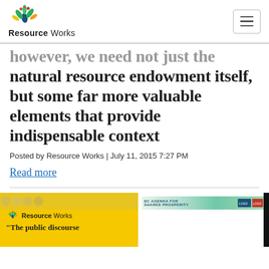Resource Works
however, we need not just the natural resource endowment itself, but some far more valuable elements that provide indispensable context
Posted by Resource Works | July 11, 2015 7:27 PM
Read more
[Figure (screenshot): Two thumbnail images side by side. Left thumbnail has yellow background with Resource Works logo and partial quote text 'The public discourse'. Right thumbnail has white background with a banner image showing 'BC AGENDA FOR SHARED PROSPERITY' with logos. A black bar is on the far right edge.]